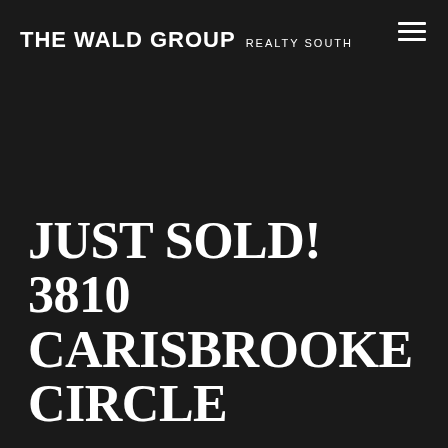THE WALD GROUP REALTY SOUTH
JUST SOLD! 3810 CARISBROOKE CIRCLE